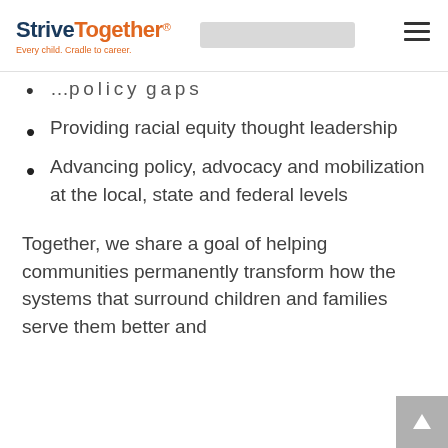StriveTogether® Every child. Cradle to career.
Providing racial equity thought leadership
Advancing policy, advocacy and mobilization at the local, state and federal levels
Together, we share a goal of helping communities permanently transform how the systems that surround children and families serve them better and